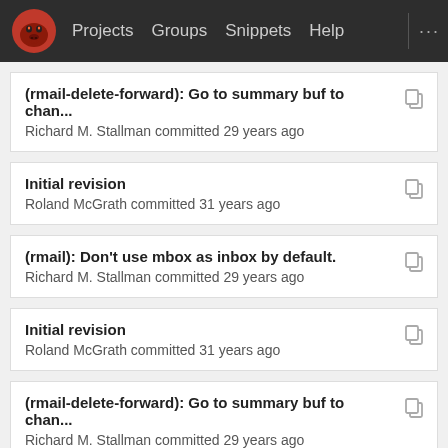[Figure (screenshot): GitLab navigation bar with GNU head logo, Projects, Groups, Snippets, Help links]
(rmail-delete-forward): Go to summary buf to chan...
Richard M. Stallman committed 29 years ago
Initial revision
Roland McGrath committed 31 years ago
(rmail): Don't use mbox as inbox by default.
Richard M. Stallman committed 29 years ago
Initial revision
Roland McGrath committed 31 years ago
(rmail-delete-forward): Go to summary buf to chan...
Richard M. Stallman committed 29 years ago